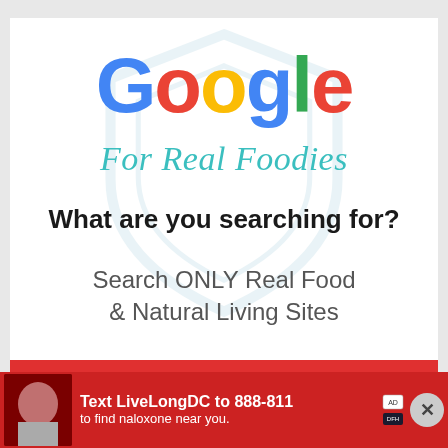[Figure (logo): Google logo in multicolor with 'For Real Foodies' in teal cursive script below, on a white card background with a faint shield watermark. Below the logo: bold text 'What are you searching for?' and gray text 'Search ONLY Real Food & Natural Living Sites'. At the bottom is a red advertisement banner reading 'Text LiveLongDC to 888-811 to find naloxone near you.']